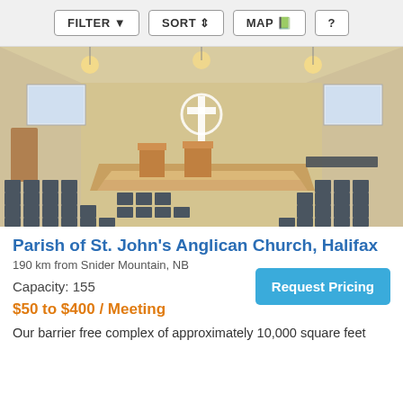FILTER  SORT  MAP  ?
[Figure (photo): Interior of a church sanctuary with rows of chairs, a raised stage/altar area, wooden floors, two projection screens, and a cross symbol visible. Overhead lighting and warm tones throughout.]
Parish of St. John's Anglican Church, Halifax
190 km from Snider Mountain, NB
Capacity: 155
Request Pricing
$50 to $400 / Meeting
Our barrier free complex of approximately 10,000 square feet